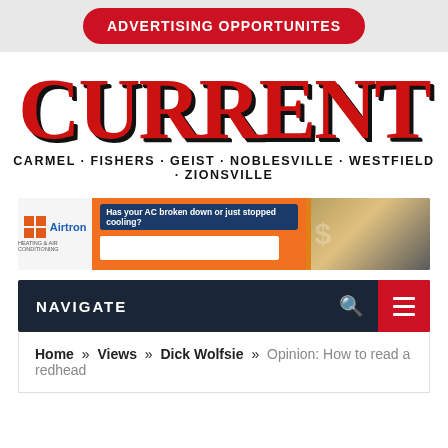[Figure (other): Red pill-shaped button with text ADVERTISING OPPORTUNITES on gray background]
CURRENT
CARMEL · FISHERS · GEIST · NOBLESVILLE · WESTFIELD · ZIONSVILLE
[Figure (other): Airtron Heating & Air Conditioning advertisement banner: Has your AC broken down or just stopped cooling?]
NAVIGATE
Home » Views » Dick Wolfsie » Opinion: How to read a redhead